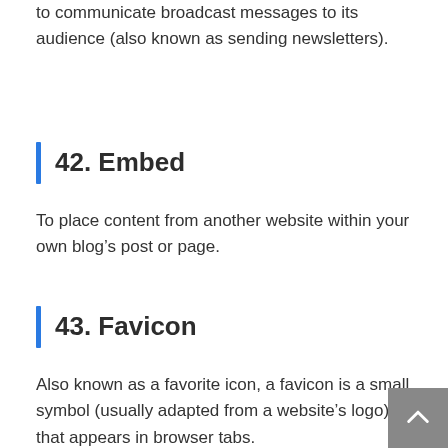to communicate broadcast messages to its audience (also known as sending newsletters).
42. Embed
To place content from another website within your own blog’s post or page.
43. Favicon
Also known as a favorite icon, a favicon is a small symbol (usually adapted from a website’s logo) that appears in browser tabs.